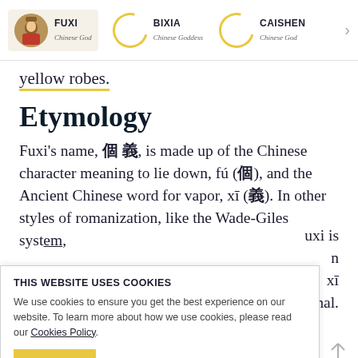FUXI Chinese God | BIXIA Chinese Goddess | CAISHEN Chinese God
yellow robes.
Etymology
Fuxi's name, 伏 羲, is made up of the Chinese character meaning to lie down, fú (伏), and the Ancient Chinese word for vapor, xī (羲). In other styles of romanization, like the Wade-Giles system, ...uxi is ...n ...xī ...mal.
THIS WEBSITE USES COOKIES
We use cookies to ensure you get the best experience on our website. To learn more about how we use cookies, please read our Cookies Policy.
ACCEPT